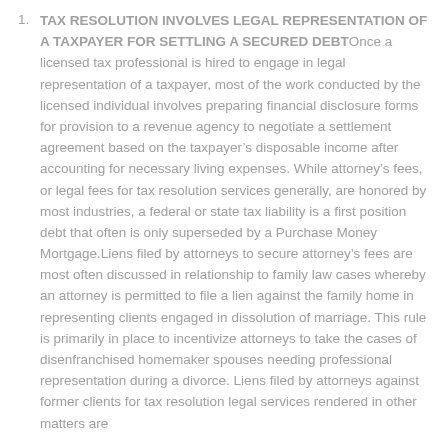TAX RESOLUTION INVOLVES LEGAL REPRESENTATION OF A TAXPAYER FOR SETTLING A SECURED DEBT Once a licensed tax professional is hired to engage in legal representation of a taxpayer, most of the work conducted by the licensed individual involves preparing financial disclosure forms for provision to a revenue agency to negotiate a settlement agreement based on the taxpayer's disposable income after accounting for necessary living expenses. While attorney's fees, or legal fees for tax resolution services generally, are honored by most industries, a federal or state tax liability is a first position debt that often is only superseded by a Purchase Money Mortgage.Liens filed by attorneys to secure attorney's fees are most often discussed in relationship to family law cases whereby an attorney is permitted to file a lien against the family home in representing clients engaged in dissolution of marriage. This rule is primarily in place to incentivize attorneys to take the cases of disenfranchised homemaker spouses needing professional representation during a divorce. Liens filed by attorneys against former clients for tax resolution legal services rendered in other matters are